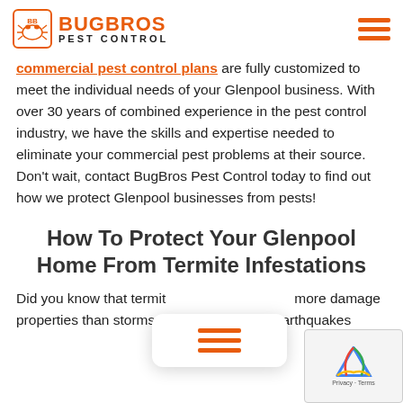BugBros Pest Control logo and navigation
commercial pest control plans are fully customized to meet the individual needs of your Glenpool business. With over 30 years of combined experience in the pest control industry, we have the skills and expertise needed to eliminate your commercial pest problems at their source. Don't wait, contact BugBros Pest Control today to find out how we protect Glenpool businesses from pests!
How To Protect Your Glenpool Home From Termite Infestations
Did you know that termites cause more damage to properties than storms, fires, and earthquakes